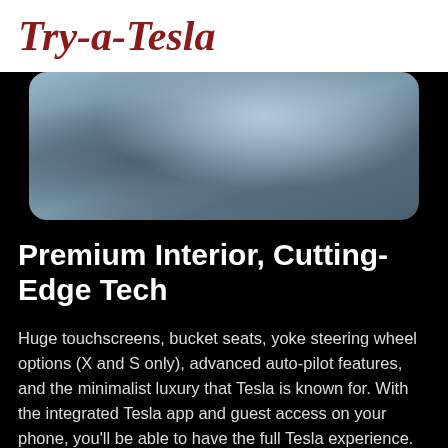Try-a-Tesla
[Figure (photo): Close-up interior photo of a Tesla car showing the front seat area with light blue/grey seat fabric and metallic/silver trim details]
Premium Interior, Cutting-Edge Tech
Huge touchscreens, bucket seats, yoke steering wheel options (X and S only), advanced auto-pilot features, and the minimalist luxury that Tesla is known for. With the integrated Tesla app and guest access on your phone, you'll be able to have the full Tesla experience.